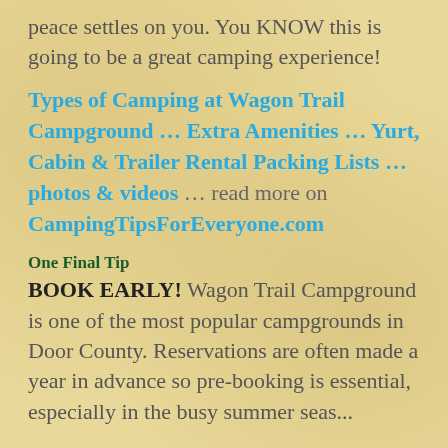peace settles on you. You KNOW this is going to be a great camping experience!
Types of Camping at Wagon Trail Campground … Extra Amenities … Yurt, Cabin & Trailer Rental Packing Lists … photos & videos … read more on CampingTipsForEveryone.com
One Final Tip
BOOK EARLY! Wagon Trail Campground is one of the most popular campgrounds in Door County. Reservations are often made a year in advance so pre-booking is essential, especially in the busy summer season...